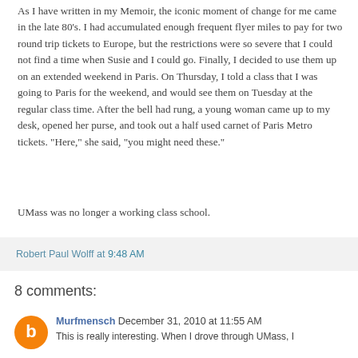As I have written in my Memoir, the iconic moment of change for me came in the late 80's. I had accumulated enough frequent flyer miles to pay for two round trip tickets to Europe, but the restrictions were so severe that I could not find a time when Susie and I could go. Finally, I decided to use them up on an extended weekend in Paris. On Thursday, I told a class that I was going to Paris for the weekend, and would see them on Tuesday at the regular class time. After the bell had rung, a young woman came up to my desk, opened her purse, and took out a half used carnet of Paris Metro tickets. "Here," she said, "you might need these."
UMass was no longer a working class school.
Robert Paul Wolff at 9:48 AM
8 comments:
Murfmensch December 31, 2010 at 11:55 AM
This is really interesting. When I drove through UMass, I